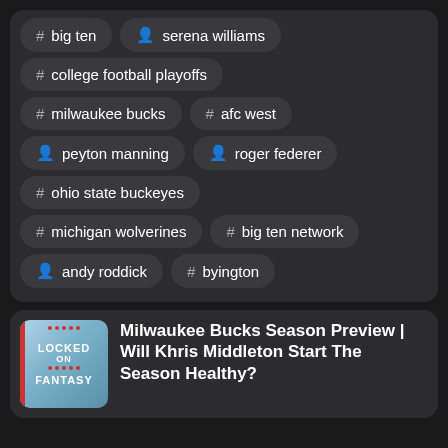# big ten
person serena williams
# college football playoffs
# milwaukee bucks
# afc west
person peyton manning
person roger federer
# ohio state buckeyes
# michigan wolverines
# big ten network
person andy roddick
# byington
[Figure (illustration): Podcast thumbnail for Locked On Fantasy]
Milwaukee Bucks Season Preview | Will Khris Middleton Start The Season Healthy?